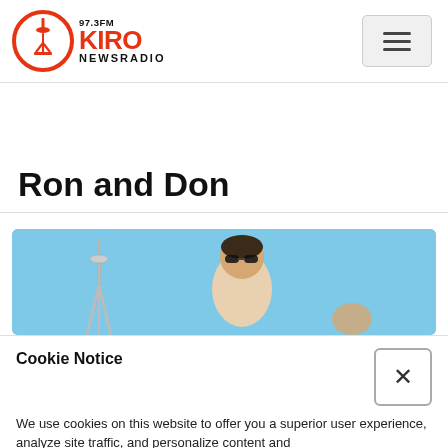[Figure (logo): 97.3FM KIRO NewsRadio logo with orange Space Needle icon in circle and red/black text]
Ron and Don
[Figure (photo): Photo of a man wearing sunglasses smiling outdoors with the Seattle Space Needle visible against a blue sky background]
Cookie Notice
We use cookies on this website to offer you a superior user experience, analyze site traffic, and personalize content and